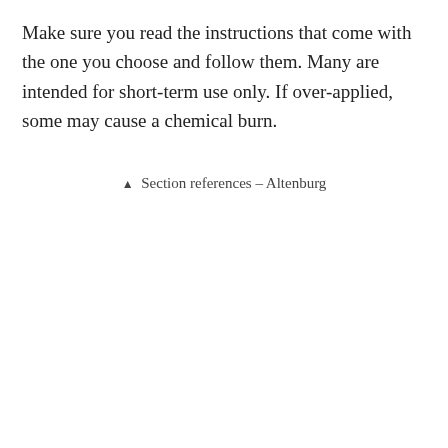Make sure you read the instructions that come with the one you choose and follow them. Many are intended for short-term use only. If over-applied, some may cause a chemical burn.
▲  Section references – Altenburg